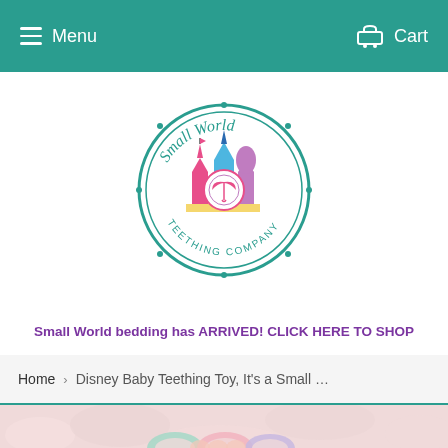Menu   Cart
[Figure (logo): Small World Teething Company circular logo with colorful castle towers and text around the border]
Small World bedding has ARRIVED! CLICK HERE TO SHOP
Home › Disney Baby Teething Toy, It's a Small ...
[Figure (photo): Close-up photo of pastel-colored teething toy rings on a soft pink fluffy background]